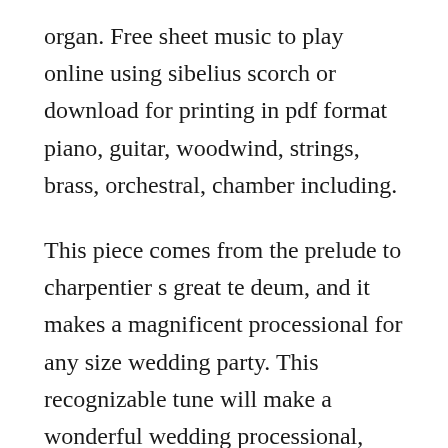organ. Free sheet music to play online using sibelius scorch or download for printing in pdf format piano, guitar, woodwind, strings, brass, orchestral, chamber including.
This piece comes from the prelude to charpentier s great te deum, and it makes a magnificent processional for any size wedding party. This recognizable tune will make a wonderful wedding processional, prelude or recital piece. Identifier tedeum scanner internet archive html5 uploader 1. This file contains additional information such as exif